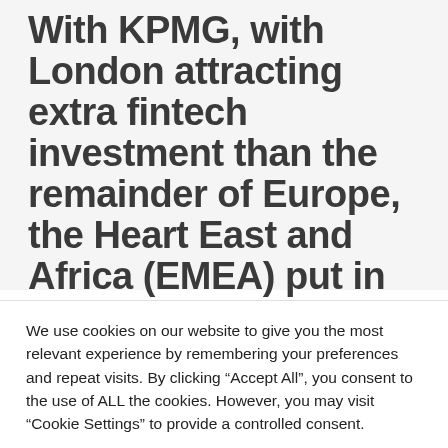With KPMG, with London attracting extra fintech investment than the remainder of Europe, the Heart East and Africa (EMEA) put in combination.
The funding overall was once boosted by way of 601
We use cookies on our website to give you the most relevant experience by remembering your preferences and repeat visits. By clicking "Accept All", you consent to the use of ALL the cookies. However, you may visit "Cookie Settings" to provide a controlled consent.